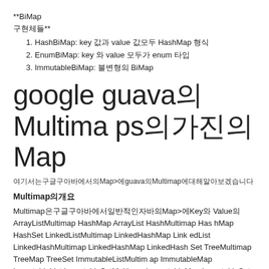**BiMap 구현체들**
HashBiMap: key 값과 value 값모두 HashMap 형식
EnumBiMap: key 와 value 모두가 enum 타입
ImmutableBiMap: 불변형의 BiMap
google guava의Multimaps의가진의Map
여기서는구글구아바에서의Map>에guava의Multimap에대해알아보겠습니다
Multimap의개요
Multimap은구글구아바에서일반적인자바의Map>에Key와 Value의 ArrayListMultimap HashMap ArrayList HashMultimap HashMap HashSet LinkedListMultimap LinkedHashMap LinkedList LinkedHashMultimap LinkedHashMap LinkedHashSet TreeMultimap TreeMap TreeSet ImmutableListMultimap ImmutableMap ImmutableList ImmutableSetMultimap ImmutableMap ImmutableSet